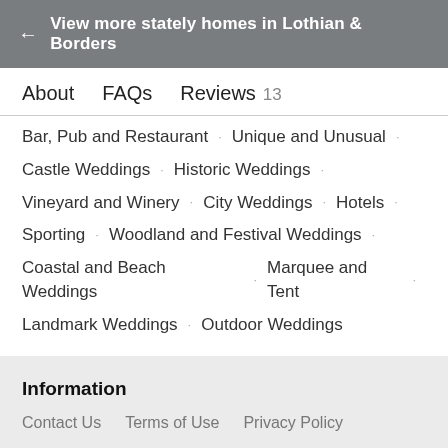← View more stately homes in Lothian & Borders
About   FAQs   Reviews 13
Bar, Pub and Restaurant · Unique and Unusual ·
Castle Weddings · Historic Weddings ·
Vineyard and Winery · City Weddings · Hotels ·
Sporting · Woodland and Festival Weddings ·
Coastal and Beach Weddings · Marquee and Tent ·
Landmark Weddings · Outdoor Weddings
Information
Contact Us   Terms of Use   Privacy Policy